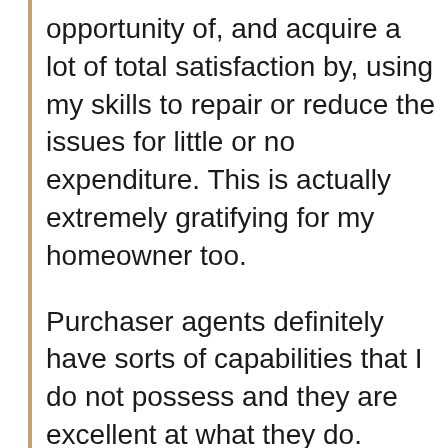opportunity of, and acquire a lot of total satisfaction by, using my skills to repair or reduce the issues for little or no expenditure. This is actually extremely gratifying for my homeowner too.
Purchaser agents definitely have sorts of capabilities that I do not possess and they are excellent at what they do.
As the seller real estate agent, I prefer to consider myself as a great positive negotiator.